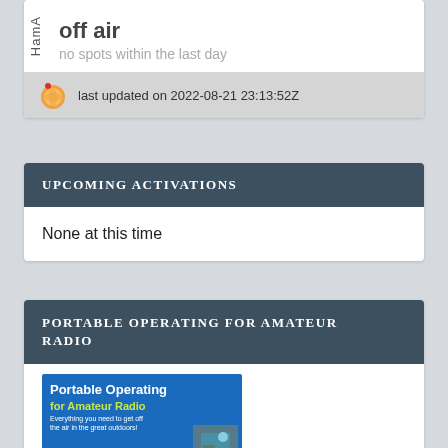off air
no spots within the last day
last updated on 2022-08-21 23:13:52Z
UPCOMING ACTIVATIONS
None at this time
PORTABLE OPERATING FOR AMATEUR RADIO
[Figure (photo): Book cover for 'Portable Operating for Amateur Radio' - blue cover with title text and a small inset photo]